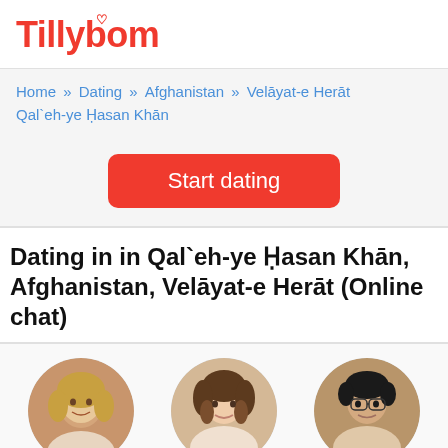Tillybom
Home » Dating » Afghanistan » Velāyat-e Herāt » Qal`eh-ye Ḥasan Khān
Start dating
Dating in in Qal`eh-ye Ḥasan Khān, Afghanistan, Velāyat-e Herāt (Online chat)
[Figure (photo): Circular profile photo of Kristin, 41]
[Figure (photo): Circular profile photo of Ellen, 75]
[Figure (photo): Circular profile photo of Salman, 31]
Kristin, 41
Ellen, 75
Salman, 31